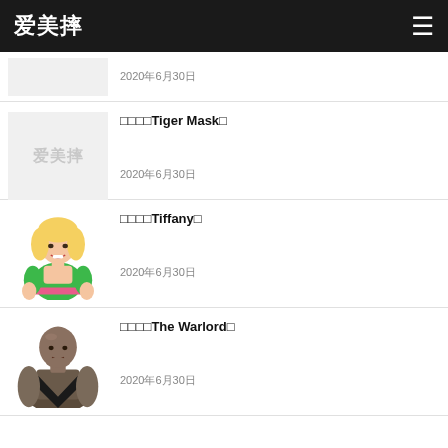爱美摔
2020年6月30日
□□□□Tiger Mask□  2020年6月30日
□□□□Tiffany□  2020年6月30日
□□□□The Warlord□  2020年6月30日